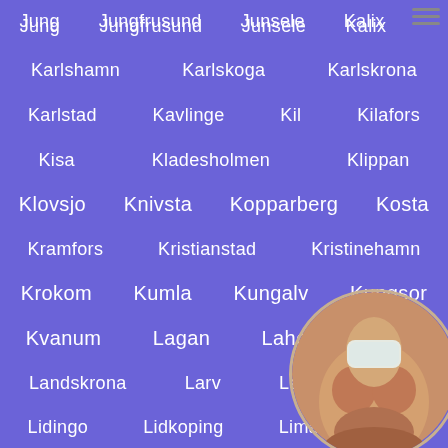Jung   Jungfrusund   Junsele   Kalix
Karlshamn   Karlskoga   Karlskrona
Karlstad   Kavlinge   Kil   Kilafors
Kisa   Kladesholmen   Klippan
Klovsjo   Knivsta   Kopparberg   Kosta
Kramfors   Kristianstad   Kristinehamn
Krokom   Kumla   Kungalv   Kungsor
Kvanum   Lagan   Laholm
Landskrona   Larv   Laxa
Lidingo   Lidkoping   Lima   Lim...
[Figure (photo): Circular cropped photo of a person in the bottom-right corner, partially covered]